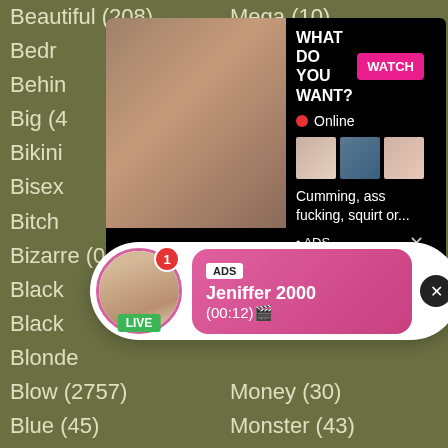Beautiful (208)
Mega (10)
Bedroom
Behind
Big (4
Bikini
Bisex
Bitch
Bizarre (0)
Missionary (97)
Black
Black
Blonde
Blow (2757)
Money (30)
Blue (45)
Monster (43)
Body (74)
Morning (38)
Bondage (155)
Mouthful (16)
Boobs (986)
Muscle (59)
Boots (22)
Nasty (23)
Booty (167)
Nature (20)
[Figure (screenshot): Adult advertisement popup showing a woman with text WHAT DO YOU WANT?, WATCH button, Online indicator, thumbnails, text Cumming, ass fucking, squirt or..., ADS label]
[Figure (screenshot): Notification popup with avatar showing LIVE badge, red badge with 1, ADS tag, name Jeniffer 2000, time (00:12), pink gradient background, X close button]